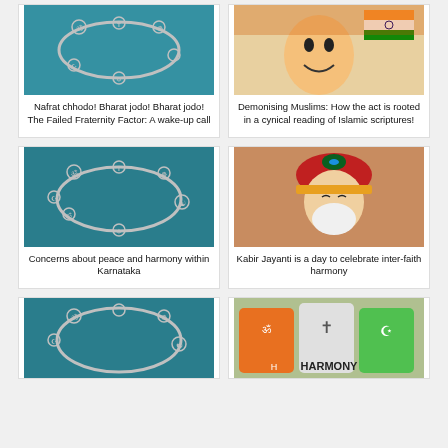[Figure (photo): Silver charm bracelet with religious symbols on teal background]
Nafrat chhodo! Bharat jodo! Bharat jodo! The Failed Fraternity Factor: A wake-up call
[Figure (photo): Smiling person with Indian flag and Ashoka chakra in background]
Demonising Muslims: How the act is rooted in a cynical reading of Islamic scriptures!
[Figure (photo): Silver charm bracelet with religious symbols on teal background]
Concerns about peace and harmony within Karnataka
[Figure (photo): Colorful illustration of Kabir saint figure with red turban and peacock feather]
Kabir Jayanti is a day to celebrate inter-faith harmony
[Figure (photo): Silver charm bracelet with religious symbols on teal background (partial)]
[Figure (photo): Colorful tags with harmony text and religious symbols (partial)]